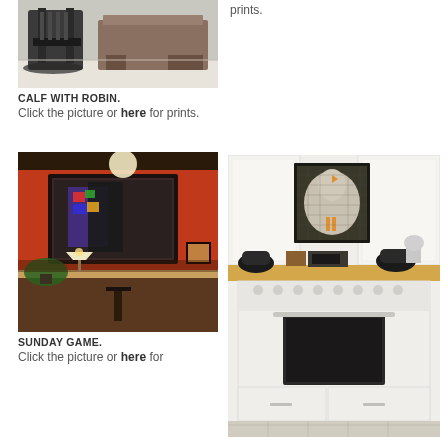[Figure (photo): Rocking chair photo (partial, top of page)]
CALF WITH ROBIN.
Click the picture or here for prints.
prints.
[Figure (photo): Interior room with red walls, dark furniture, artwork hanging — SUNDAY GAME]
SUNDAY GAME.
Click the picture or here for
[Figure (photo): Kitchen with vintage white stove and chicken artwork hanging on wall above cabinets]